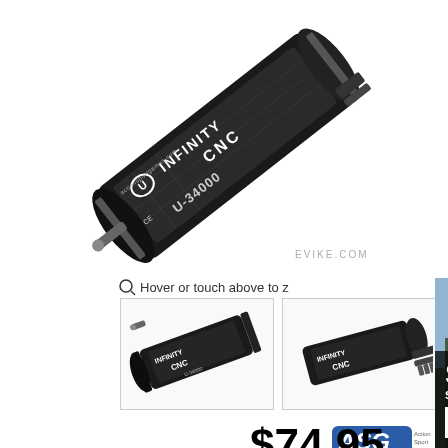[Figure (photo): Close-up photo of ASG Infinity CNC motor U-34000, black cylindrical motor with label, tilted diagonally on white background with EVIKE.COM watermark]
Hover or touch above to zoom
[Figure (photo): Thumbnail 1: small motor viewed from side showing shaft and body]
[Figure (photo): Thumbnail 2: small motor viewed from opposite side showing connector end]
[Figure (logo): ASG (Action Sport Games) logo in blue]
$74.95
[Figure (photo): Newsletter popup overlay: soldier aiming rifle, with text SAVE ON Y and SIGN UP FOR OUR NEWSLETT and email input field]